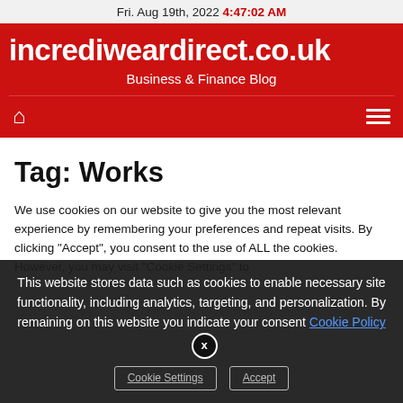Fri. Aug 19th, 2022  4:47:02 AM
incrediweardirect.co.uk
Business & Finance Blog
Tag: Works
We use cookies on our website to give you the most relevant experience by remembering your preferences and repeat visits. By clicking "Accept", you consent to the use of ALL the cookies. However, you may visit "Cookie Settings" to
This website stores data such as cookies to enable necessary site functionality, including analytics, targeting, and personalization. By remaining on this website you indicate your consent Cookie Policy